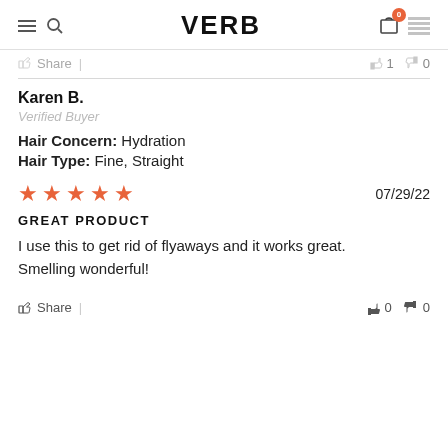VERB
Share | 👍 1 👎 0
Karen B.
Verified Buyer
Hair Concern: Hydration
Hair Type: Fine, Straight
★★★★★  07/29/22
GREAT PRODUCT
I use this to get rid of flyaways and it works great. Smelling wonderful!
Share | 👍 0 👎 0